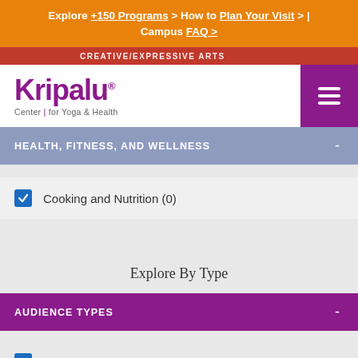Explore +150 Programs > How to Plan Your Visit > | Campus FAQ >
[Figure (logo): Kripalu Center for Yoga & Health logo with purple text and hamburger menu]
HEALTH, FITNESS, AND WELLNESS -
Cooking and Nutrition (0)
Explore By Type
AUDIENCE TYPES -
All (0)
Family and Kids (0)